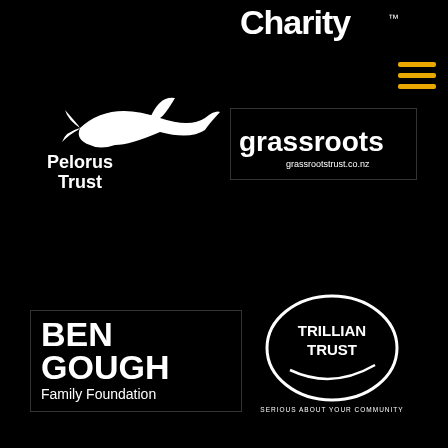[Figure (logo): Charity logo (partial, top right)]
[Figure (logo): Pelorus Trust logo with dolphin icon]
[Figure (logo): grassroots trust logo - grassrootstrust.co.nz]
[Figure (logo): BEN GOUGH Family Foundation logo]
[Figure (logo): Trillian Trust logo - SERIOUS ABOUT YOUR COMMUNITY]
[Figure (logo): Asia New Zealand Foundation - Te Whitau Tuhono logo]
[Figure (logo): Wellington Community Trust logo]
[Figure (logo): Four Winds Foundation logo (partial)]
[Figure (logo): TAB logo (partial)]